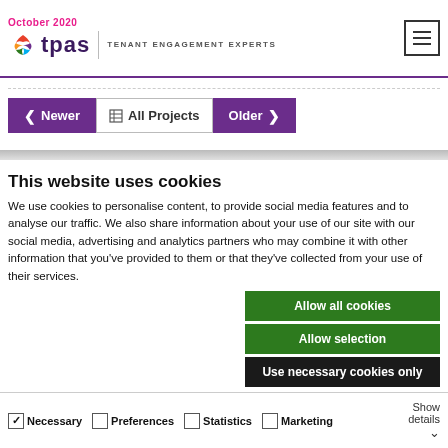October 2020 | tpas | TENANT ENGAGEMENT EXPERTS
< Newer | All Projects | Older >
This website uses cookies
We use cookies to personalise content, to provide social media features and to analyse our traffic. We also share information about your use of our site with our social media, advertising and analytics partners who may combine it with other information that you've provided to them or that they've collected from your use of their services.
Allow all cookies
Allow selection
Use necessary cookies only
Necessary | Preferences | Statistics | Marketing | Show details